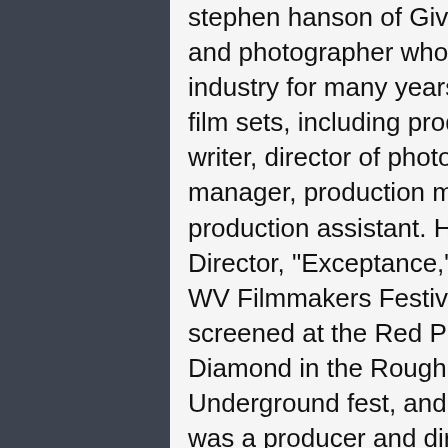stephen hanson of Given, WV. Stephen is a filmmaker and photographer who has been working in WV's film industry for many years. He has worn multiple hats on film sets, including producer, director, assistant director, writer, director of photography, location scout, location manager, production manager, photographer, and production assistant. His latest work as Assistant Director, "Exceptance," is being shown during the current WV Filmmakers Festival in Sutton, and the film has also screened at the Red Phoenix International fest in PA, Diamond in the Rough fest in CA, Tampa Bay Underground fest, and Pittsburgh Independent fest. He was a producer and director of photography for the recent light-hearted short comedy "The Croquet Calamity" and a producer, writer and director of the recent short "The Last Thing You Need," which is making the festival circuit at this time. Some of the productions he has worked on in multiple capacities are: "NASCAR: The Rise of American Speed"/"What the Night Car...